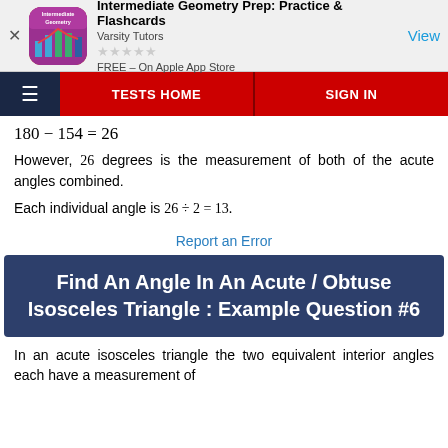[Figure (screenshot): App store advertisement banner for Intermediate Geometry Prep: Practice & Flashcards by Varsity Tutors, FREE on Apple App Store, with View button]
TESTS HOME | SIGN IN
However, 26 degrees is the measurement of both of the acute angles combined.
Each individual angle is 26 ÷ 2 = 13.
Report an Error
Find An Angle In An Acute / Obtuse Isosceles Triangle : Example Question #6
In an acute isosceles triangle the two equivalent interior angles each have a measurement of 53 degrees. Find the missing angle.